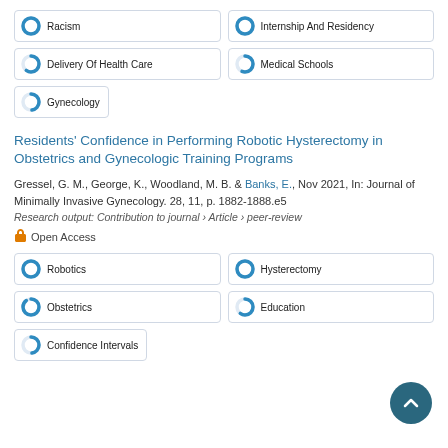[Figure (infographic): Keyword badges with donut chart icons for top article section: Racism (100%), Internship And Residency (100%), Delivery Of Health Care (~60%), Medical Schools (~55%), Gynecology (~45%)]
Residents' Confidence in Performing Robotic Hysterectomy in Obstetrics and Gynecologic Training Programs
Gressel, G. M., George, K., Woodland, M. B. & Banks, E., Nov 2021, In: Journal of Minimally Invasive Gynecology. 28, 11, p. 1882-1888.e5
Research output: Contribution to journal › Article › peer-review
Open Access
[Figure (infographic): Keyword badges with donut chart icons for bottom article section: Robotics (100%), Hysterectomy (100%), Obstetrics (~90%), Education (~60%), Confidence Intervals (~45%)]